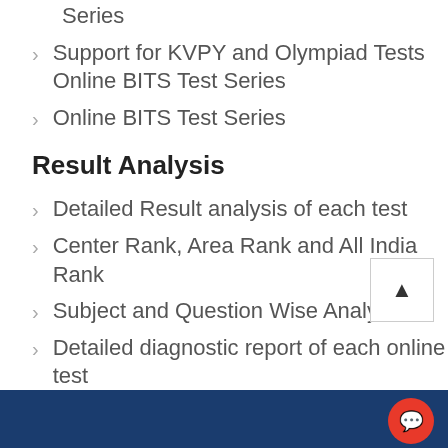Series
Support for KVPY and Olympiad Tests Online BITS Test Series
Online BITS Test Series
Result Analysis
Detailed Result analysis of each test
Center Rank, Area Rank and All India Rank
Subject and Question Wise Analysis
Detailed diagnostic report of each online test